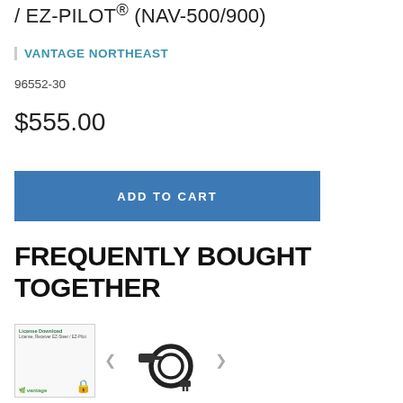/ EZ-PILOT® (NAV-500/900)
VANTAGE NORTHEAST
96552-30
$555.00
ADD TO CART
FREQUENTLY BOUGHT TOGETHER
[Figure (photo): Product thumbnail for License Download - License, Receiver EZ-Steer / EZ-Pilot, shown with vantage logo and lock icon]
[Figure (photo): Product thumbnail showing a black cable/wire connector accessory]